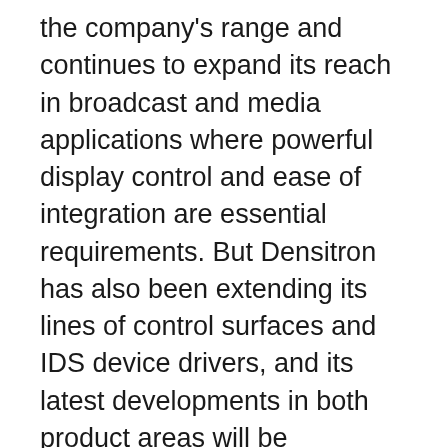the company's range and continues to expand its reach in broadcast and media applications where powerful display control and ease of integration are essential requirements. But Densitron has also been extending its lines of control surfaces and IDS device drivers, and its latest developments in both product areas will be presented at NAB.
Specific products on the Densitron booth (C7418) will include the 1- and 3-row versions of the popular UReady 2RU universal control surface. Featuring a total of 18 and 54 buttons respectively, the new